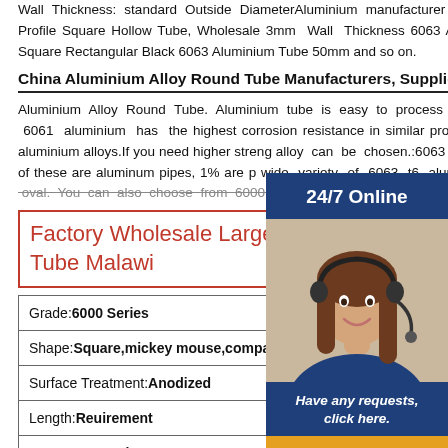Wall Thickness: standard Outside DiameterAluminium manufacturer / supplier in China, offering Colour Anodized Aluminum Profile Square Hollow Tube, Wholesale 3mm Wall Thickness 6063 Aluminum Square Hollow Tube From China, Thin Wall Square Rectangular Black 6063 Aluminium Tube 50mm and so on.
China Aluminium Alloy Round Tube Manufacturers, Suppliers
Aluminium Alloy Round Tube. Aluminium tube is easy to process and weld,which is made of silicon and magnesium. 6061 aluminium has the highest corrosion resistance in similar products, but its strength is lower than other heat treated aluminium alloys.If you need higher strength alloy can be chosen.:6063 T6 Aluminum Tube Wholesale Suppliers . About 39% of these are aluminum pipes, 1% are p wide variety of 6063 t6 aluminum tube options are availab round, square, and oval. You can also choose from 6000 s
Factory Wholesale Large Diameter Alumin Tube Malawi
| Grade:6000 Series |
| Shape:Square,mickey mouse,compact,round,Oth |
| Surface Treatment:Anodized |
| Length:Reuirement |
| Usage:Decoration |